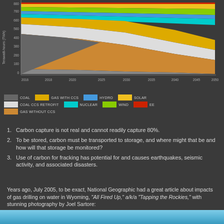[Figure (area-chart): Stacked area chart showing energy sources over time 2016-2050 including coal, gas without CCS, gas with CCS, coal CCS retrofit, nuclear, wind, hydro, solar, and EE layers]
Carbon capture is not real and cannot readily capture 80%.
To be stored, carbon must be transported to storage, and where might that be and how will that storage be monitored?
Use of carbon for fracking has potential for and causes earthquakes, seismic activity, and associated disasters.
Years ago, July 2005, to be exact, National Geographic had a great article about impacts of gas drilling on water in Wyoming, “All Fired Up,” a/k/a “Tapping the Rockies,” with stunning photography by Joel Sartore:
[Figure (photo): Blue sky and landscape photo strip at bottom of page]